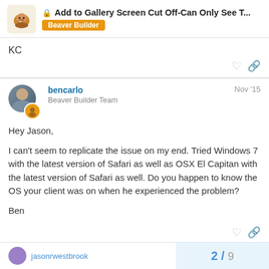Add to Gallery Screen Cut Off-Can Only See T... Beaver Builder
KC
bencarlo  Beaver Builder Team  Nov '15
Hey Jason,

I can't seem to replicate the issue on my end. Tried Windows 7 with the latest version of Safari as well as OSX El Capitan with the latest version of Safari as well. Do you happen to know the OS your client was on when he experienced the problem?

Ben
jasonrwestbrook
2 / 9